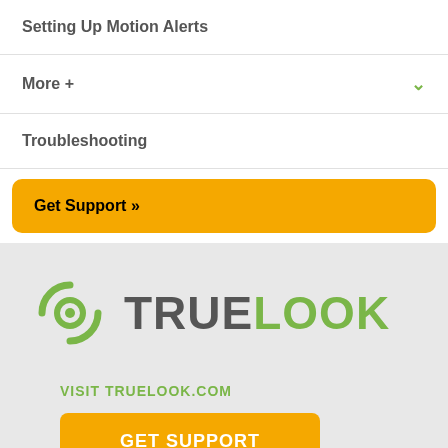Setting Up Motion Alerts
More +
Troubleshooting
Get Support »
[Figure (logo): TrueLook logo with green circular camera icon and two-tone TRUELOOK text]
VISIT TRUELOOK.COM
GET SUPPORT